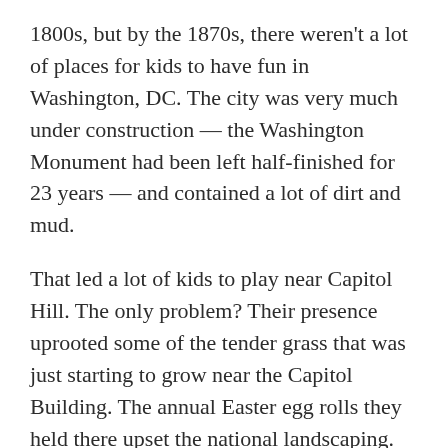1800s, but by the 1870s, there weren't a lot of places for kids to have fun in Washington, DC. The city was very much under construction — the Washington Monument had been left half-finished for 23 years — and contained a lot of dirt and mud.
That led a lot of kids to play near Capitol Hill. The only problem? Their presence uprooted some of the tender grass that was just starting to grow near the Capitol Building. The annual Easter egg rolls they held there upset the national landscaping.
So on April 21, 1876, Congress passed the Turf Protection Law, which banned Easter egg rolls on Capitol Hill. In 1877, bad weather kept the Easter egg roll from happening, and 1878 didn't look much better. In the days leading up to Easter, the